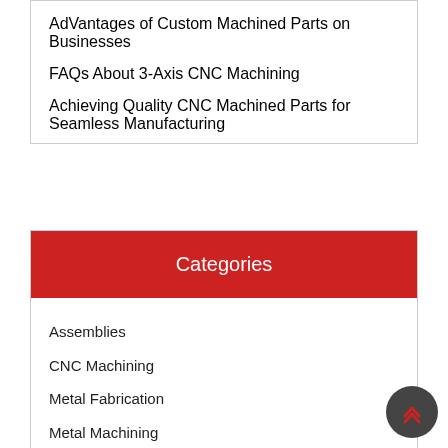AdVantages of Custom Machined Parts on Businesses
FAQs About 3-Axis CNC Machining
Achieving Quality CNC Machined Parts for Seamless Manufacturing
Categories
Assemblies
CNC Machining
Metal Fabrication
Metal Machining
Metal Stamping